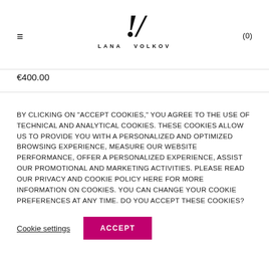≡  LANA VOLKOV  (0)
€400.00
BY CLICKING ON "ACCEPT COOKIES," YOU AGREE TO THE USE OF TECHNICAL AND ANALYTICAL COOKIES. THESE COOKIES ALLOW US TO PROVIDE YOU WITH A PERSONALIZED AND OPTIMIZED BROWSING EXPERIENCE, MEASURE OUR WEBSITE PERFORMANCE, OFFER A PERSONALIZED EXPERIENCE, ASSIST OUR PROMOTIONAL AND MARKETING ACTIVITIES. PLEASE READ OUR PRIVACY AND COOKIE POLICY HERE FOR MORE INFORMATION ON COOKIES. YOU CAN CHANGE YOUR COOKIE PREFERENCES AT ANY TIME. DO YOU ACCEPT THESE COOKIES?
Cookie settings  ACCEPT